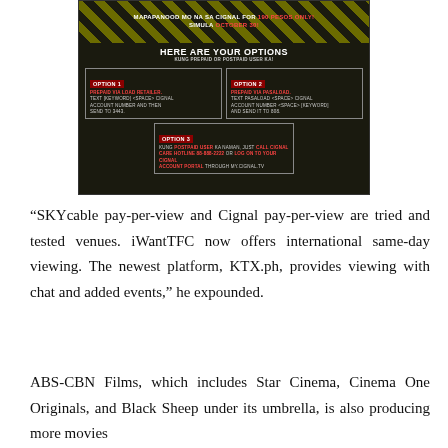[Figure (infographic): Dark-themed Cignal pay-per-view promotional graphic showing payment options. Header with yellow diagonal stripes reads 'MAPAPANOOD MO NA SA CIGNAL FOR 190 PESOS ONLY! SIMULA OCTOBER 30!' followed by 'HERE ARE YOUR OPTIONS' section with three boxes: Option 1 (Prepaid via Load Retailer), Option 2 (Prepaid via Pasaload), Option 3 (Postpaid via Cignal Care Hotline 88-888-2222 or log on to account portal through MY.CIGNAL.TV)]
“SKYcable pay-per-view and Cignal pay-per-view are tried and tested venues. iWantTFC now offers international same-day viewing. The newest platform, KTX.ph, provides viewing with chat and added events,” he expounded.
ABS-CBN Films, which includes Star Cinema, Cinema One Originals, and Black Sheep under its umbrella, is also producing more movies